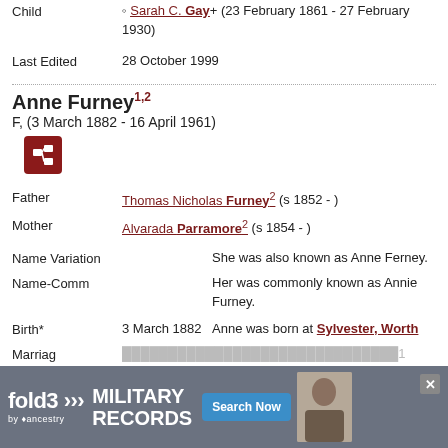Child: Sarah C. Gay+ (23 February 1861 - 27 February 1930)
Last Edited   28 October 1999
Anne Furney1,2
F, (3 March 1882 - 16 April 1961)
Father  Thomas Nicholas Furney2 (s 1852 - )
Mother  Alvarada Parramore2 (s 1854 - )
Name Variation   She was also known as Anne Ferney.
Name-Comm   Her was commonly known as Annie Furney.
Birth*   3 March 1882   Anne was born at Sylvester, Worth Co., Georgia, on 3 March
Marriag...   ...1
[Figure (screenshot): Fold3 Military Records advertisement banner with Search Now button and soldier photo]